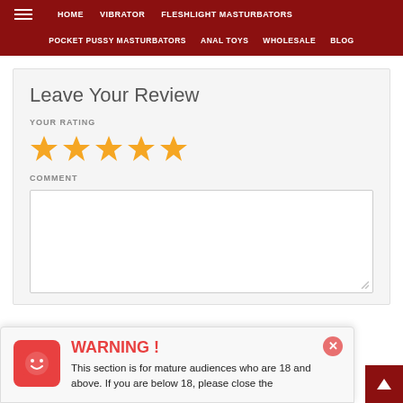HOME | VIBRATOR | FLESHLIGHT MASTURBATORS | POCKET PUSSY MASTURBATORS | ANAL TOYS | WHOLESALE | BLOG
Leave Your Review
YOUR RATING
[Figure (other): Five gold star rating icons]
COMMENT
WARNING ! This section is for mature audiences who are 18 and above. If you are below 18, please close the